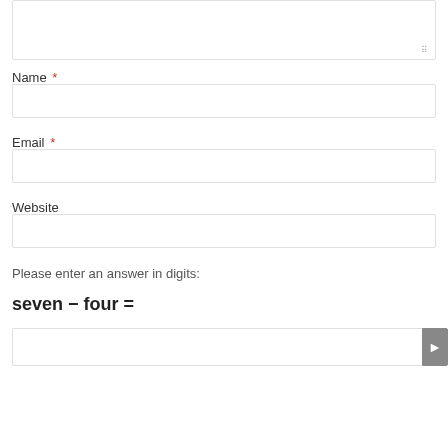[Figure (screenshot): Textarea input box with resize handle in bottom-right corner]
Name *
[Figure (screenshot): Name text input field]
Email *
[Figure (screenshot): Email text input field]
Website
[Figure (screenshot): Website text input field]
Please enter an answer in digits:
seven − four =
[Figure (screenshot): Captcha answer input field with submit button]